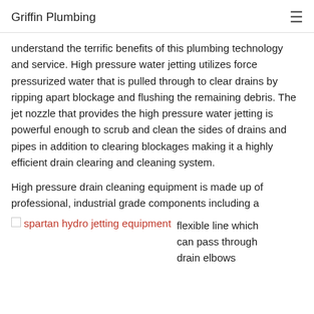Griffin Plumbing
understand the terrific benefits of this plumbing technology and service. High pressure water jetting utilizes force pressurized water that is pulled through to clear drains by ripping apart blockage and flushing the remaining debris. The jet nozzle that provides the high pressure water jetting is powerful enough to scrub and clean the sides of drains and pipes in addition to clearing blockages making it a highly efficient drain clearing and cleaning system.
High pressure drain cleaning equipment is made up of professional, industrial grade components including a flexible line which can pass through drain elbows
[Figure (photo): spartan hydro jetting equipment - broken image link shown in pink/red text]